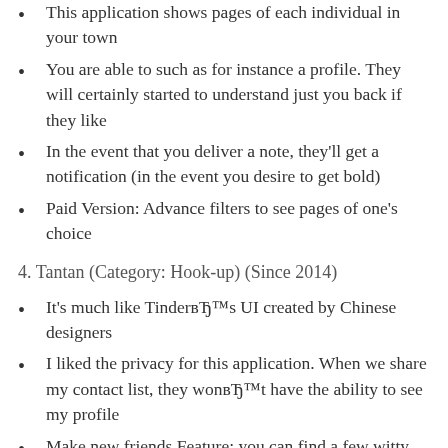This application shows pages of each individual in your town
You are able to such as for instance a profile. They will certainly started to understand just you back if they like
In the event that you deliver a note, they'll get a notification (in the event you desire to get bold)
Paid Version: Advance filters to see pages of one's choice
4. Tantan (Category: Hook-up) (Since 2014)
It's much like TinderвЂ™s UI created by Chinese designers
I liked the privacy for this application. When we share my contact list, they wonвЂ™t have the ability to see my profile
Make new friends Feature: you can find a few witty questions them better that you can ask your